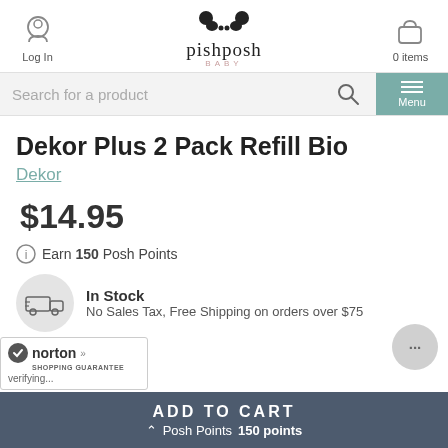pishposh baby — Log In — 0 items
Search for a product
Dekor Plus 2 Pack Refill Bio
Dekor
$14.95
Earn 150 Posh Points
In Stock
No Sales Tax, Free Shipping on orders over $75
ADD TO CART
Posh Points 150 points